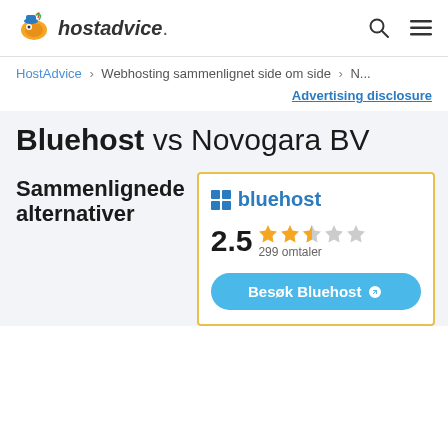hostadvice.
HostAdvice > Webhosting sammenlignet side om side > N...
Advertising disclosure
Bluehost vs Novogara BV
Sammenlignede alternativer
bluehost
2.5 299 omtaler
Besøk Bluehost